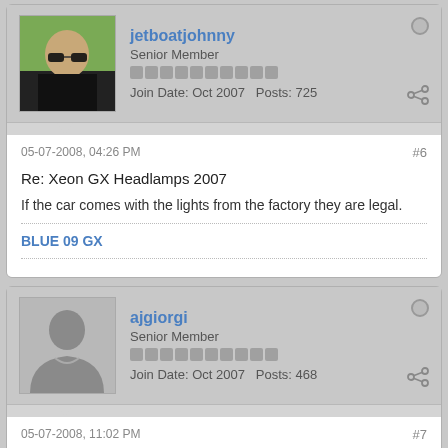[Figure (photo): Forum post card for user jetboatjohnny showing avatar photo, username, rank, rep bar, join date and post count]
jetboatjohnny
Senior Member
Join Date: Oct 2007   Posts: 725
05-07-2008, 04:26 PM
#6
Re: Xeon GX Headlamps 2007
If the car comes with the lights from the factory they are legal.
BLUE 09 GX
[Figure (photo): Forum post card for user ajgiorgi showing silhouette avatar, username, rank, rep bar, join date and post count]
ajgiorgi
Senior Member
Join Date: Oct 2007   Posts: 468
05-07-2008, 11:02 PM
#7
Re: Xeon GX Headlamps 2007